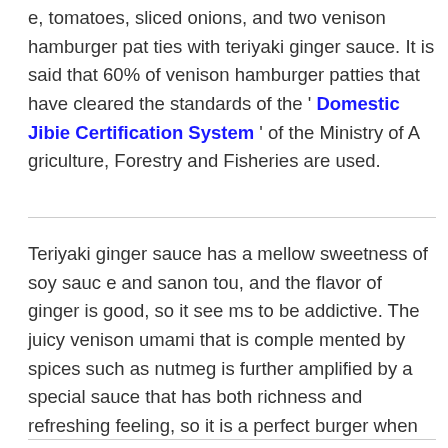e, tomatoes, sliced onions, and two venison hamburger patties with teriyaki ginger sauce. It is said that 60% of venison hamburger patties that have cleared the standards of the 'Domestic Jibie Certification System' of the Ministry of Agriculture, Forestry and Fisheries are used.
Teriyaki ginger sauce has a mellow sweetness of soy sauce and sanon tou, and the flavor of ginger is good, so it seems to be addictive. The juicy venison umami that is complemented by spices such as nutmeg is further amplified by a special sauce that has both richness and refreshing feeling, so it is a perfect burger when you want to enjoy the venison umami anyway. It was finished in.